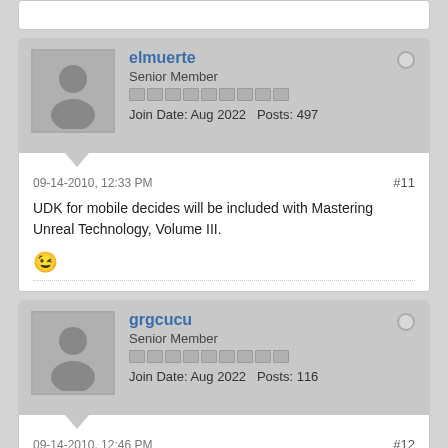elmuerte — Senior Member — Join Date: Aug 2022   Posts: 497
09-14-2010, 12:33 PM   #11
UDK for mobile decides will be included with Mastering Unreal Technology, Volume III.
grgcucu — Senior Member — Join Date: Aug 2022   Posts: 116
09-14-2010, 12:46 PM   #12